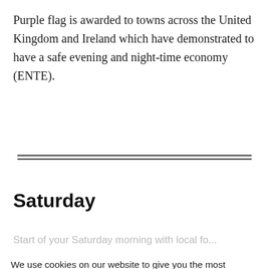Purple flag is awarded to towns across the United Kingdom and Ireland which have demonstrated to have a safe evening and night-time economy (ENTE).
Saturday
We use cookies on our website to give you the most relevant experience by remembering your preferences and repeat visits. By clicking "Accept All", you consent to the use of ALL the cookies. However, you may visit "Cookie Settings" to provide a controlled consent.